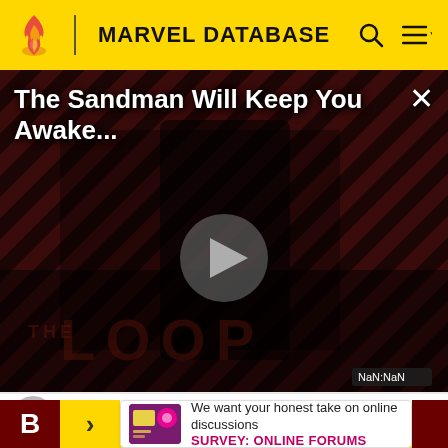MARVEL DATABASE
[Figure (screenshot): Video player showing 'The Sandman Will Keep You Awake...' with a dark figure in black on a striped dark red background, a play button in center, THE LOOP text watermark, and NaN:NaN time badge]
The Sandman Will Keep You Awake...
3  Charlotte Webber (Earth-20023)
We want your honest take on online discussions
SURVEY: ONLINE FORUMS